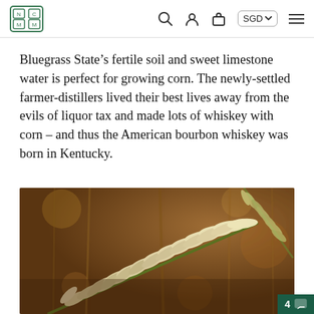NCM logo navigation bar with SGD currency selector
Bluegrass State’s fertile soil and sweet limestone water is perfect for growing corn. The newly-settled farmer-distillers lived their best lives away from the evils of liquor tax and made lots of whiskey with corn – and thus the American bourbon whiskey was born in Kentucky.
[Figure (photo): Close-up photograph of wheat or grain stalks with pale golden seed heads against a warm brown bokeh background]